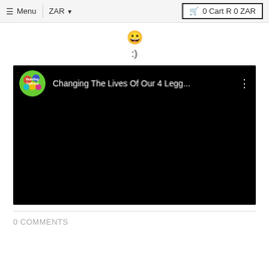Menu | ZAR ▾  🛒 0 Cart R 0 ZAR
🙂
:)
[Figure (screenshot): Embedded YouTube-style video player with black background. Channel avatar for 'BeanBagTheBrand' visible. Video title: 'Changing The Lives Of Our 4 Legg...' with three-dot menu icon.]
0 COMMENTS